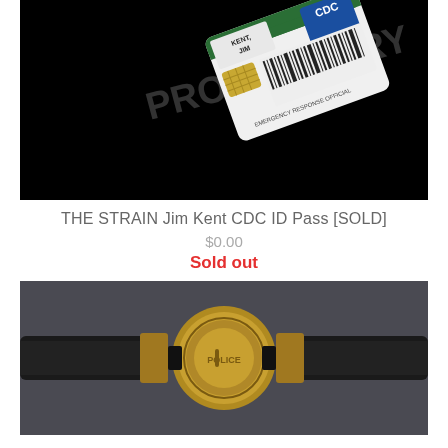[Figure (photo): Photo of a CDC ID Pass card prop for character Jim Kent, shown on a black background with 'PROPRIETARY' watermark]
THE STRAIN Jim Kent CDC ID Pass [SOLD]
$0.00
Sold out
[Figure (photo): Photo of a black leather belt with gold circular badge buckle, shown on a dark grey background]